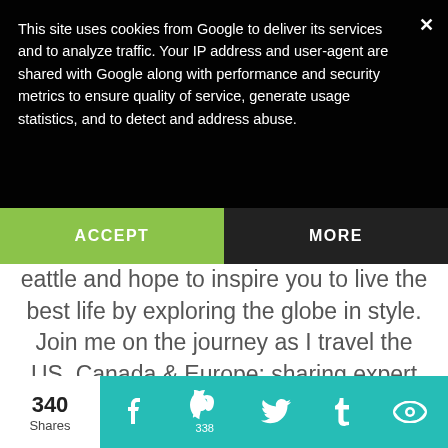This site uses cookies from Google to deliver its services and to analyze traffic. Your IP address and user-agent are shared with Google along with performance and security metrics to ensure quality of service, generate usage statistics, and to detect and address abuse.
ACCEPT
MORE
eattle and hope to inspire you to live the best life by exploring the globe in style. Join me on the journey as I travel the US, Canada & Europe: sharing expert tips for the city, beach, cruising and ageless fashion.
340 Shares
338